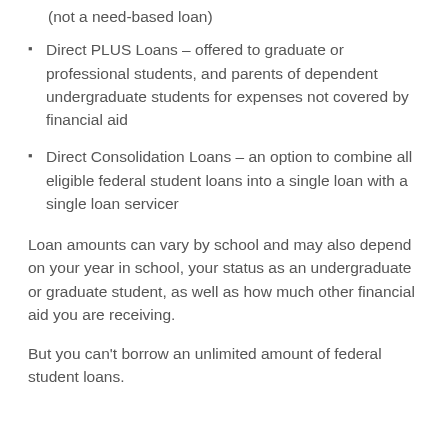(not a need-based loan)
Direct PLUS Loans – offered to graduate or professional students, and parents of dependent undergraduate students for expenses not covered by financial aid
Direct Consolidation Loans – an option to combine all eligible federal student loans into a single loan with a single loan servicer
Loan amounts can vary by school and may also depend on your year in school, your status as an undergraduate or graduate student, as well as how much other financial aid you are receiving.
But you can't borrow an unlimited amount of federal student loans.